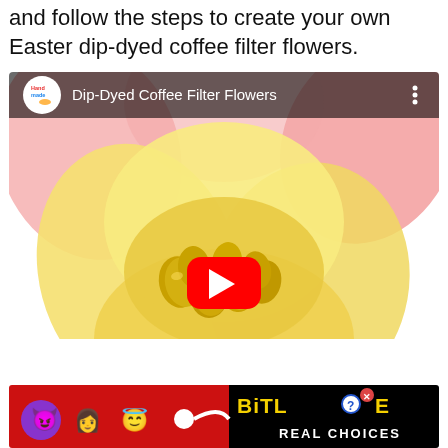and follow the steps to create your own Easter dip-dyed coffee filter flowers.
[Figure (screenshot): YouTube video embed thumbnail showing 'Dip-Dyed Coffee Filter Flowers' by Handmade channel. The thumbnail shows yellow coffee filter flowers holding gold-painted Easter eggs. A red YouTube play button is visible in the center. The video bar at top shows the Handmade logo and title.]
[Figure (photo): BitLife advertisement banner with emoji characters (devil, woman, angel, sperm) on red background on left, and 'BitLife REAL CHOICES' text on black background on right.]